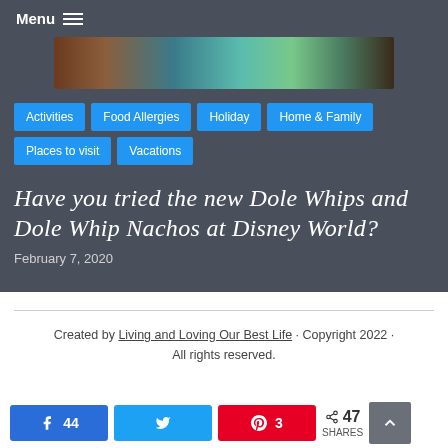Menu
[Figure (photo): Partial hero image showing Disney character with blue and teal colors, cropped at top]
Activities
Food Allergies
Holiday
Home & Family
Places to visit
Vacations
Have you tried the new Dole Whips and Dole Whip Nachos at Disney World?
February 7, 2020
Created by Living and Loving Our Best Life · Copyright 2022 · All rights reserved.
44  (Facebook share button)
(Twitter share button)
3  (Pinterest share button)
< 47 SHARES